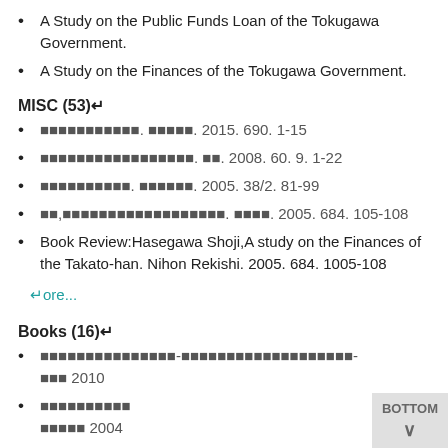A Study on the Public Funds Loan of the Tokugawa Government.
A Study on the Finances of the Tokugawa Government.
MISC (53)↵
■■■■■■■■■■■. ■■■■■. 2015. 690. 1-15
■■■■■■■■■■■■■■■■■. ■■. 2008. 60. 9. 1-22
■■■■■■■■■■. ■■■■■■. 2005. 38/2. 81-99
■■,■■■■■■■■■■■■■■■■■■. ■■■■. 2005. 684. 105-108
Book Review:Hasegawa Shoji,A study on the Finances of the Takato-han. Nihon Rekishi. 2005. 684. 1005-108
↵ore...
Books (16)↵
■■■■■■■■■■■■■■■-■■■■■■■■■■■■■■■■■■■- ■■■ 2010
■■■■■■■■■■ ■■■■■ 2004
Study on the Finances of the Tokugawa Goverment. Yoshikawa Koubunkan 2004
■■■■■■■■■■■■